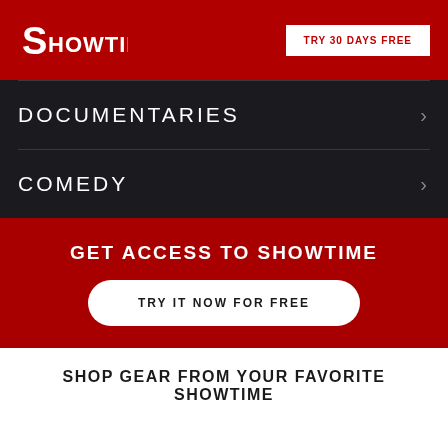[Figure (logo): Showtime logo in white on red background]
TRY 30 DAYS FREE
DOCUMENTARIES
COMEDY
GET ACCESS TO SHOWTIME
TRY IT NOW FOR FREE
SHOP GEAR FROM YOUR FAVORITE SHOWTIME